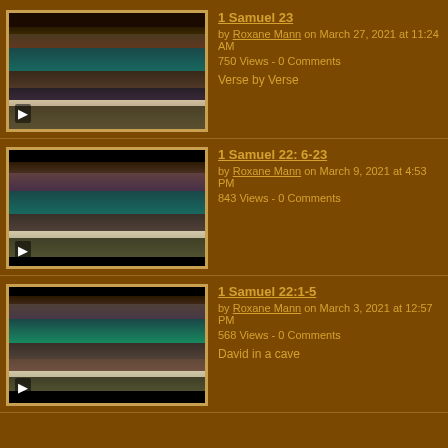[Figure (screenshot): Video thumbnail showing church scene with speaker - 1 Samuel 23]
1 Samuel 23
by Roxane Mann on March 27, 2021 at 11:24 AM
750 Views - 0 Comments
Verse by Verse
[Figure (screenshot): Video thumbnail showing church scene with two speakers - 1 Samuel 22: 6-23]
1 Samuel 22: 6-23
by Roxane Mann on March 9, 2021 at 4:53 PM
843 Views - 0 Comments
[Figure (screenshot): Video thumbnail showing church scene with male and female speakers - 1 Samuel 22:1-5]
1 Samuel 22:1-5
by Roxane Mann on March 3, 2021 at 12:57 PM
568 Views - 0 Comments
David in a cave